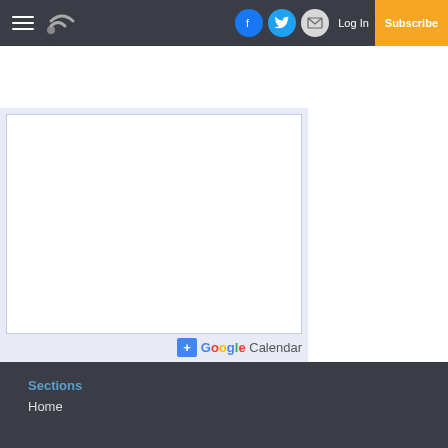Navigation bar with hamburger menu, logo/radio icon, Facebook, Twitter, Email social buttons, Log In link, and Subscribe button
[Figure (screenshot): Embedded Google Calendar iframe widget showing a white calendar area with a blue border, and a '+ Google Calendar' button at the bottom]
Sections | Home